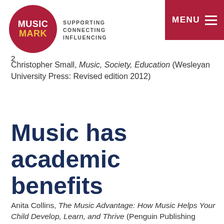[Figure (logo): Music Mark logo: red circle with MUSIC MARK text, tagline SUPPORTING CONNECTING INFLUENCING, and red MENU button top right]
2
Christopher Small, Music, Society, Education (Wesleyan University Press: Revised edition 2012)
Music has academic benefits
Anita Collins, The Music Advantage: How Music Helps Your Child Develop, Learn, and Thrive (Penguin Publishing Group: